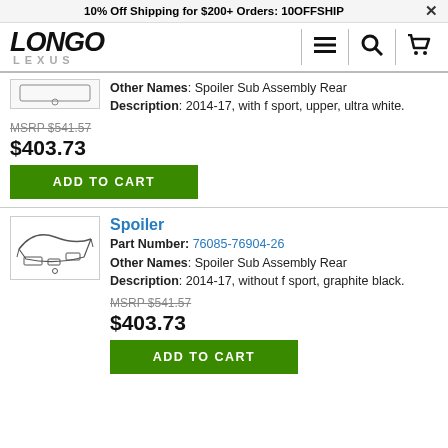10% Off Shipping for $200+ Orders: 10OFFSHIP
[Figure (logo): Longo Lexus logo with navigation icons (hamburger menu, search, cart)]
Other Names: Spoiler Sub Assembly Rear
Description: 2014-17, with f sport, upper, ultra white.
MSRP $541.57
$403.73
ADD TO CART
Spoiler
Part Number: 76085-76904-26
[Figure (illustration): Line drawing illustration of a car spoiler part]
Other Names: Spoiler Sub Assembly Rear
Description: 2014-17, without f sport, graphite black.
MSRP $541.57
$403.73
ADD TO CART